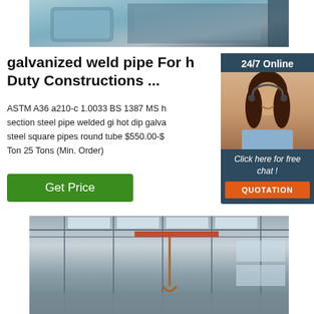[Figure (photo): Close-up photo of galvanized steel pipe/metal structure components, blue and grey tones]
galvanized weld pipe For Heavy Duty Constructions ...
ASTM A36 a210-c 1.0033 BS 1387 MS hollow section steel pipe welded gi hot dip galvanized steel square pipes round tube $550.00-$... Ton 25 Tons (Min. Order)
[Figure (illustration): 24/7 Online chat widget with woman wearing headset, dark blue background, orange QUOTATION button]
Get Price
[Figure (photo): Interior of industrial warehouse/factory with steel roof structure, skylights, and overhead crane hook visible]